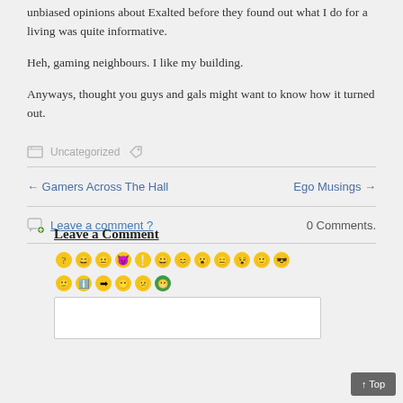unbiased opinions about Exalted before they found out what I do for a living was quite informative.
Heh, gaming neighbours. I like my building.
Anyways, thought you guys and gals might want to know how it turned out.
Uncategorized
← Gamers Across The Hall
Ego Musings →
Leave a comment ?
0 Comments.
Leave a Comment
[Figure (illustration): Row of smiley face emoji icons for comment reactions]
↑ Top